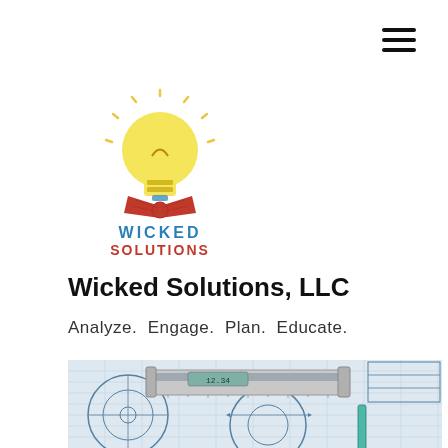[Figure (logo): Hamburger menu icon (three horizontal lines) in top-right corner]
[Figure (logo): Wicked Solutions LLC logo: lightbulb with red bow tie and text WICKED SOLUTIONS in teal/red]
Wicked Solutions, LLC
Analyze.  Engage.  Plan.  Educate.
[Figure (photo): Photo of engineering blueprints/technical drawings with a digital caliper and pencil on top]